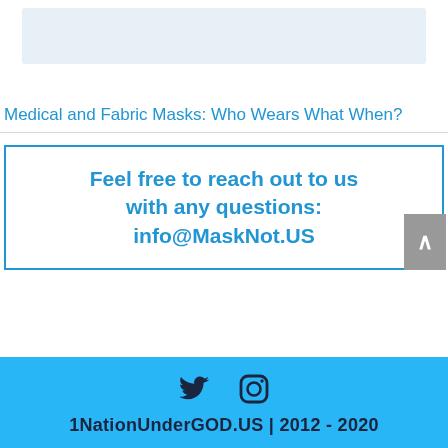[Figure (other): Gray banner image area at top of page]
Medical and Fabric Masks: Who Wears What When?
Feel free to reach out to us with any questions: info@MaskNot.US
1NationUnderGOD.US | 2012 - 2020